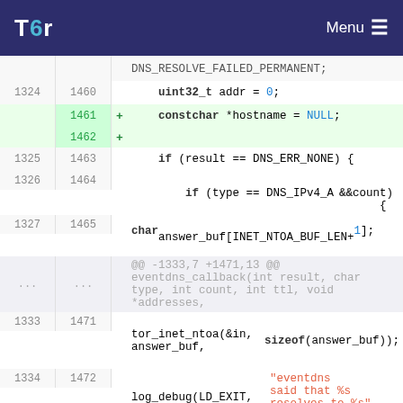Tor | Menu
[Figure (screenshot): Code diff view showing changes to a C source file in the Tor project. Lines show additions of 'const char *hostname = NULL;' and a blank line, with surrounding context including DNS resolution callback code. Highlighted rows for added lines (green) and a deleted line (pink) at the bottom.]